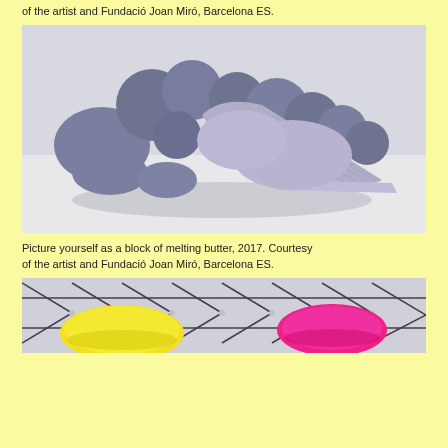of the artist and Fundació Joan Miró, Barcelona ES.
[Figure (photo): Sculpture artwork titled 'Picture yourself as a block of melting butter, 2017'. A blue-grey organic sculptural form with rounded blob shapes and a lighter lavender/purple ridged/pleated element emerging from it, placed on a white floor in a gallery setting.]
Picture yourself as a block of melting butter, 2017. Courtesy of the artist and Fundació Joan Miró, Barcelona ES.
[Figure (photo): Close-up photo of an artwork featuring a wire mesh/chicken wire structure with bright yellow and hot pink sculptural oval forms attached to it, on a light grey background.]